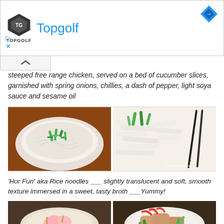Topgolf
steeped free range chicken, served on a bed of cucumber slices, garnished with spring onions, chillies, a dash of pepper, light soya sauce and sesame oil
[Figure (photo): Two food photos side by side: left shows a bowl of white rice noodles topped with chopped green spring onions; right shows flat white rice noodles (hor fun) with green spring onions and chopsticks, watermarked 'No Frills Recipes']
'Hor Fun' aka Rice noodles ___ slightly translucent and soft, smooth texture immersed in a sweet, tasty broth ___Yummy!
[Figure (photo): Two food photos side by side showing Asian dishes: left shows a bowl with shrimp/seafood; right shows a plate with chicken, red chillies, and green vegetables on a white plate]